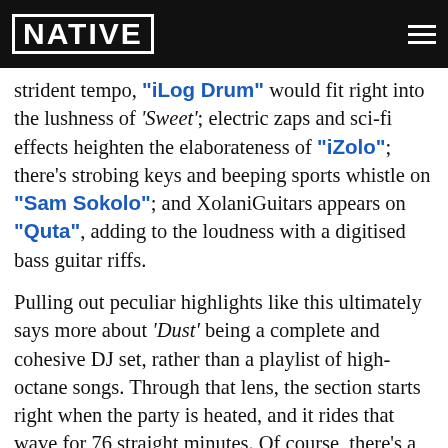NATIVE
endless styles of leg works, but there's an endless sonic details that keeps things refreshing for observing listeners. If not for its strident tempo, "iLog Drum" would fit right into the lushness of 'Sweet'; electric zaps and sci-fi effects heighten the elaborateness of "iZolo"; there's strobing keys and beeping sports whistle on "Sam Sokolo"; and XolaniGuitars appears on "Quta", adding to the loudness with a digitised bass guitar riffs.
Pulling out peculiar highlights like this ultimately says more about 'Dust' being a complete and cohesive DJ set, rather than a playlist of high-octane songs. Through that lens, the section starts right when the party is heated, and it rides that wave for 76 straight minutes. Of course, there's a fair share of standout moments, like Focalistic infectious chant drawling over the buzzing synth loop and wide